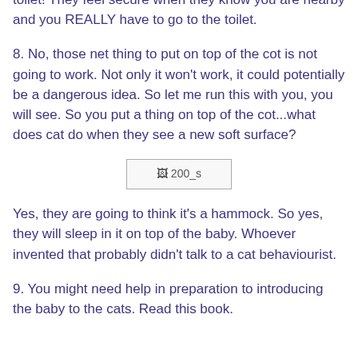the kitchen. It is also handy when you have to go to the toilet! They feel secure when they know you are nearby and you REALLY have to go to the toilet.
8. No, those net thing to put on top of the cot is not going to work. Not only it won't work, it could potentially be a dangerous idea. So let me run this with you, you will see. So you put a thing on top of the cot...what does cat do when they see a new soft surface?
[Figure (photo): Broken image placeholder labeled '200_s']
Yes, they are going to think it's a hammock. So yes, they will sleep in it on top of the baby. Whoever invented that probably didn't talk to a cat behaviourist.
9. You might need help in preparation to introducing the baby to the cats. Read this book.